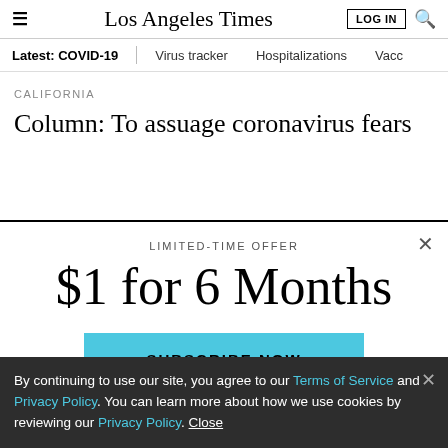Los Angeles Times — LOG IN
Latest: COVID-19 | Virus tracker | Hospitalizations | Vacc
CALIFORNIA
Column: To assuage coronavirus fears…
LIMITED-TIME OFFER
$1 for 6 Months
SUBSCRIBE NOW
By continuing to use our site, you agree to our Terms of Service and Privacy Policy. You can learn more about how we use cookies by reviewing our Privacy Policy. Close